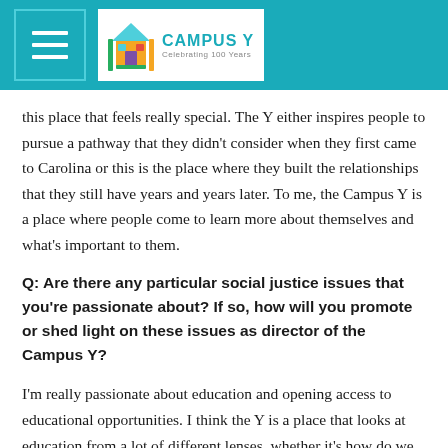[Figure (logo): Campus Y logo with teal header bar, hamburger menu button on the left, and Campus Y logo with colorful building icon and text 'CAMPUS Y Celebrating 100 Years']
this place that feels really special. The Y either inspires people to pursue a pathway that they didn't consider when they first came to Carolina or this is the place where they built the relationships that they still have years and years later. To me, the Campus Y is a place where people come to learn more about themselves and what's important to them.
Q: Are there any particular social justice issues that you're passionate about? If so, how will you promote or shed light on these issues as director of the Campus Y?
I'm really passionate about education and opening access to educational opportunities. I think the Y is a place that looks at education from a lot of different lenses, whether it's how do we address curriculum in the schools, or how do we address the school